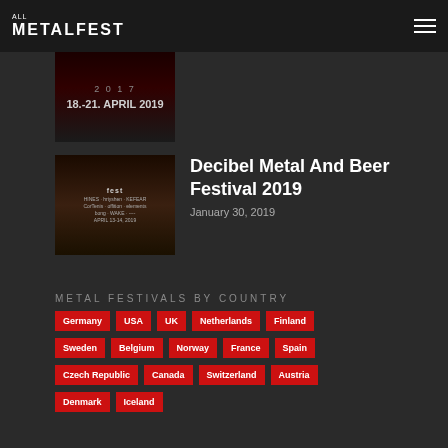ALL METALFEST
[Figure (photo): Festival poster showing 18-21. April 2019 with dark red curtain background]
[Figure (photo): Decibel Metal And Beer Festival 2019 poster showing bands, April 13-14, 2019]
Decibel Metal And Beer Festival 2019
January 30, 2019
METAL FESTIVALS BY COUNTRY
Germany
USA
UK
Netherlands
Finland
Sweden
Belgium
Norway
France
Spain
Czech Republic
Canada
Switzerland
Austria
Denmark
Iceland